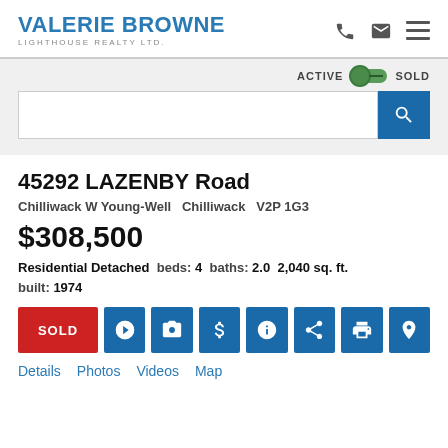VALERIE BROWNE LIGHTHOUSE REALTY LTD.
45292 LAZENBY Road
Chilliwack W Young-Well   Chilliwack   V2P 1G3
$308,500
Residential Detached  beds: 4  baths: 2.0  2,040 sq. ft.  built: 1974
Details  Photos  Videos  Map